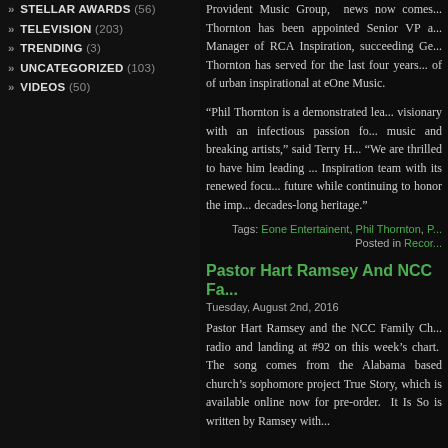» STELLAR AWARDS (56)
» TELEVISION (203)
» TRENDING (3)
» UNCATEGORIZED (103)
» VIDEOS (50)
Provident Music Group, news now comes... Thornton has been appointed Senior VP and Manager of RCA Inspiration, succeeding Ge... Thornton has served for the last four years... of of urban inspirational at eOne Music.
“Phil Thornton is a demonstrated lea... visionary with an infectious passion fo... music and breaking artists,” said Terry H... “We are thrilled to have him leading ... Inspiration team with its renewed focu... future while continuing to honor the imp... decades-long heritage.”
Tags: Eone Entertainent, Phil Thornton, P... Posted in Recor...
Pastor Hart Ramsey And NCC Fa...
Tuesday, August 2nd, 2016
Pastor Hart Ramsey and the NCC Family Ch... radio and landing at #92 on this week’s chart. The song comes from the Alabama based church’s sophomore project True Story, which is available online now for pre-order. It Is So is written by Ramsey with...